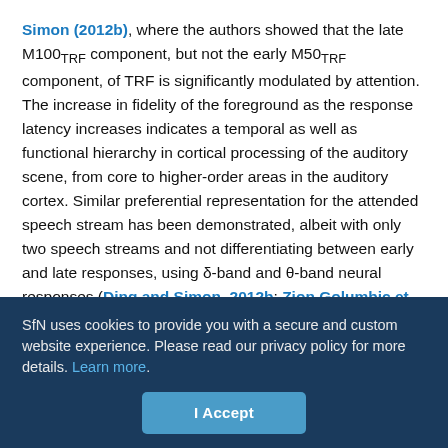Simon (2012b), where the authors showed that the late M100TRF component, but not the early M50TRF component, of TRF is significantly modulated by attention. The increase in fidelity of the foreground as the response latency increases indicates a temporal as well as functional hierarchy in cortical processing of the auditory scene, from core to higher-order areas in the auditory cortex. Similar preferential representation for the attended speech stream has been demonstrated, albeit with only two speech streams and not differentiating between early and late responses, using δ-band and θ-band neural responses (Ding and Simon, 2012b; Zion Golumbic et al., 2013a,b), as well as high-γ neural responses (Mesgarani and Chang, 2012; Zion Golumbic et al., 2013a), and also for the cases of monaural speech (Ding and Simon, 2012b; Mesgarani and
SfN uses cookies to provide you with a secure and custom website experience. Please read our privacy policy for more details. Learn more.